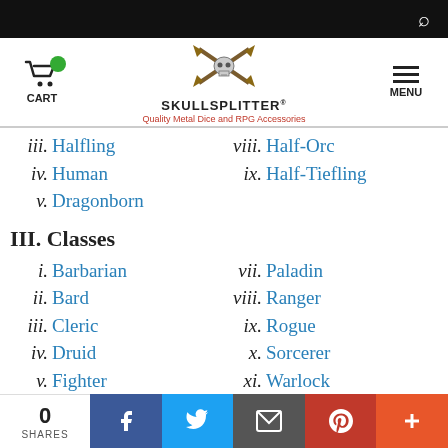[Figure (logo): SkullSplitter dice logo with crossed axes and skull, text 'SKULLSPLITTER' and tagline 'Quality Metal Dice and RPG Accessories']
iii. Halfling
viii. Half-Orc
iv. Human
ix. Half-Tiefling
v. Dragonborn
III. Classes
i. Barbarian
vii. Paladin
ii. Bard
viii. Ranger
iii. Cleric
ix. Rogue
iv. Druid
x. Sorcerer
v. Fighter
xi. Warlock
vi. Monk
xii. Wizard
IV. Beyond 1st Level